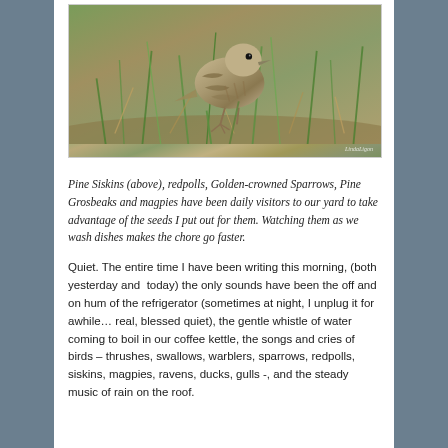[Figure (photo): Close-up photograph of a Pine Siskin bird standing in grass and ground cover, looking upward. Watermark text 'LindaLigon' visible in lower right.]
Pine Siskins (above), redpolls, Golden-crowned Sparrows, Pine Grosbeaks and magpies have been daily visitors to our yard to take advantage of the seeds I put out for them. Watching them as we wash dishes makes the chore go faster.
Quiet. The entire time I have been writing this morning, (both yesterday and  today) the only sounds have been the off and on hum of the refrigerator (sometimes at night, I unplug it for awhile… real, blessed quiet), the gentle whistle of water coming to boil in our coffee kettle, the songs and cries of birds – thrushes, swallows, warblers, sparrows, redpolls, siskins, magpies, ravens, ducks, gulls -, and the steady music of rain on the roof.